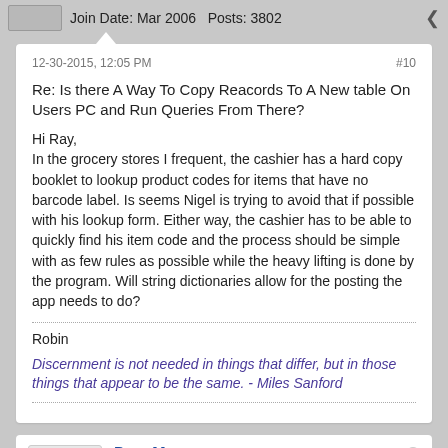Join Date: Mar 2006   Posts: 3802
12-30-2015, 12:05 PM
#10
Re: Is there A Way To Copy Reacords To A New table On Users PC and Run Queries From There?
Hi Ray,
In the grocery stores I frequent, the cashier has a hard copy booklet to lookup product codes for items that have no barcode label. Is seems Nigel is trying to avoid that if possible with his lookup form. Either way, the cashier has to be able to quickly find his item code and the process should be simple with as few rules as possible while the heavy lifting is done by the program. Will string dictionaries allow for the posting the app needs to do?
Robin
Discernment is not needed in things that differ, but in those things that appear to be the same. - Miles Sanford
DaveM
"Certified" Alphaholic